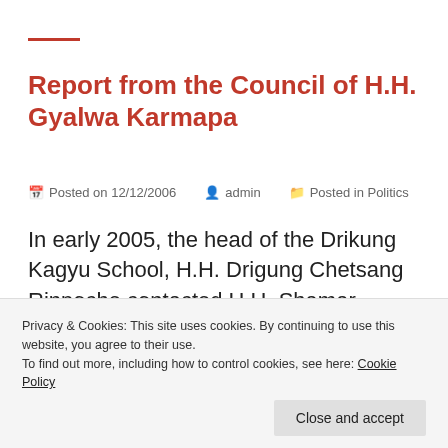Report from the Council of H.H. Gyalwa Karmapa
Posted on 12/12/2006   admin   Posted in Politics
In early 2005, the head of the Drikung Kagyu School, H.H. Drigung Chetsang Rinpoche contacted H.H. Shamar Rinpoche while he was conducting teachings on the Sutra of Alankara in Hong Kong. Drigung Chetsang
Privacy & Cookies: This site uses cookies. By continuing to use this website, you agree to their use.
To find out more, including how to control cookies, see here: Cookie Policy
Close and accept